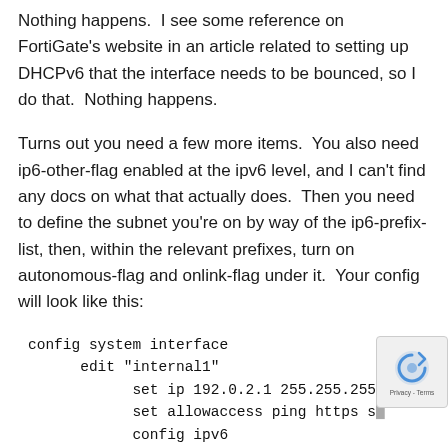Nothing happens.  I see some reference on FortiGate's website in an article related to setting up DHCPv6 that the interface needs to be bounced, so I do that.  Nothing happens.
Turns out you need a few more items.  You also need ip6-other-flag enabled at the ipv6 level, and I can't find any docs on what that actually does.  Then you need to define the subnet you're on by way of the ip6-prefix-list, then, within the relevant prefixes, turn on autonomous-flag and onlink-flag under it.  Your config will look like this:
config system interface
    edit "internal1"
        set ip 192.0.2.1 255.255.255.
        set allowaccess ping https s
        config ipv6
            set ip6 allowaccess ping https
            set ip6 address 2001:db8:0:1::